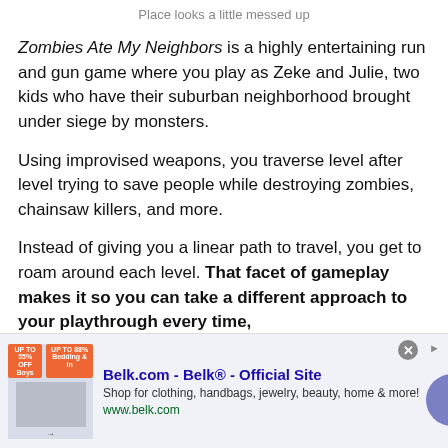Place looks a little messed up
Zombies Ate My Neighbors is a highly entertaining run and gun game where you play as Zeke and Julie, two kids who have their suburban neighborhood brought under siege by monsters.
Using improvised weapons, you traverse level after level trying to save people while destroying zombies, chainsaw killers, and more.
Instead of giving you a linear path to travel, you get to roam around each level. That facet of gameplay makes it so you can take a different approach to your playthrough every time,
[Figure (other): Advertisement banner for Belk.com - Belk Official Site. Shows product images, text: Shop for clothing, handbags, jewelry, beauty, home & more! www.belk.com]